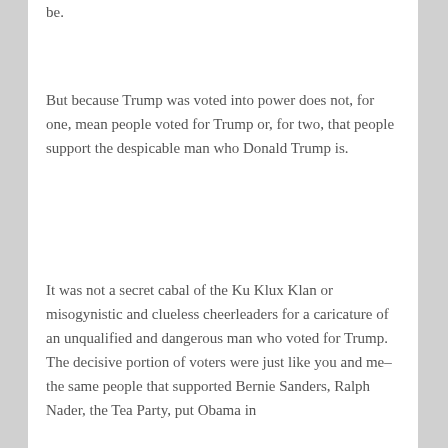be.
But because Trump was voted into power does not, for one, mean people voted for Trump or, for two, that people support the despicable man who Donald Trump is.
It was not a secret cabal of the Ku Klux Klan or misogynistic and clueless cheerleaders for a caricature of an unqualified and dangerous man who voted for Trump. The decisive portion of voters were just like you and me–the same people that supported Bernie Sanders, Ralph Nader, the Tea Party, put Obama in